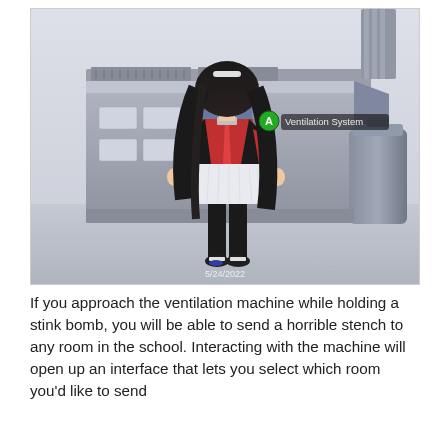[Figure (screenshot): Anime-style 3D game screenshot showing a female character with long black hair in a red and black uniform with white skirt, viewed from behind, standing in front of a large gray ventilation machine. A green button prompt shows 'A Ventilation System'. Timestamp '5/24/2022' visible at bottom. Background is a pale gray/white room.]
If you approach the ventilation machine while holding a stink bomb, you will be able to send a horrible stench to any room in the school. Interacting with the machine will open up an interface that lets you select which room you'd like to send